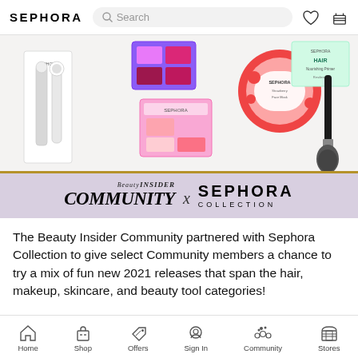SEPHORA [search bar] [heart icon] [menu icon]
[Figure (photo): Sephora beauty products: facial cleansing brush, purple eyeshadow palette, pink blush palette, strawberry face mask, hair cream tin, makeup brush]
[Figure (infographic): Beauty INSIDER COMMUNITY x SEPHORA COLLECTION banner with lavender background and gold top border]
The Beauty Insider Community partnered with Sephora Collection to give select Community members a chance to try a mix of fun new 2021 releases that span the hair, makeup, skincare, and beauty tool categories!
Home  Shop  Offers  Sign In  Community  Stores